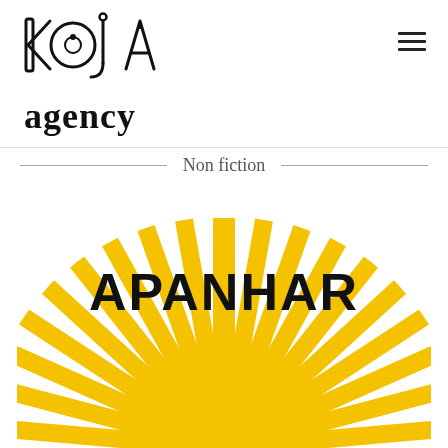[Figure (logo): KOJA agency logo — stylized block letters KOJA above cursive 'agency' text]
Non fiction
[Figure (illustration): Book cover for APANHAR — bold text APANHAR over a sunburst illustration with golden yellow rays and a rising sun, white background]